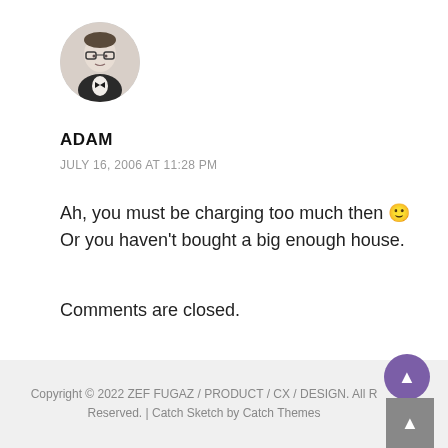[Figure (photo): Circular avatar photo of a man in a tuxedo wearing glasses, black and white photo style]
ADAM
JULY 16, 2006 AT 11:28 PM
Ah, you must be charging too much then 🙂 Or you haven't bought a big enough house.
Comments are closed.
Copyright © 2022 ZEF FUGAZ / PRODUCT / CX / DESIGN. All Rights Reserved. | Catch Sketch by Catch Themes